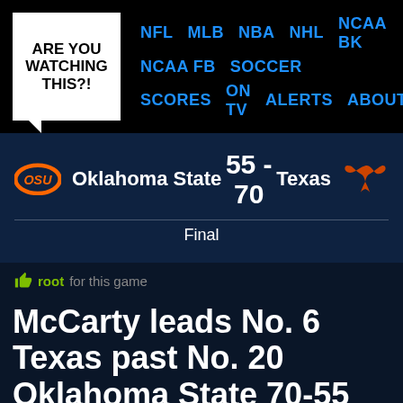[Figure (screenshot): Are You Watching This?! website header with navigation links: NFL, MLB, NBA, NHL, NCAA BK, NCAA FB, Soccer, SCORES, ON TV, ALERTS, ABOUT]
[Figure (infographic): Score display: Oklahoma State 55 - Texas 70, Final]
root for this game
McCarty leads No. 6 Texas past No. 20 Oklahoma State 70-55
Feb 11, 2016 · 1:01 AM